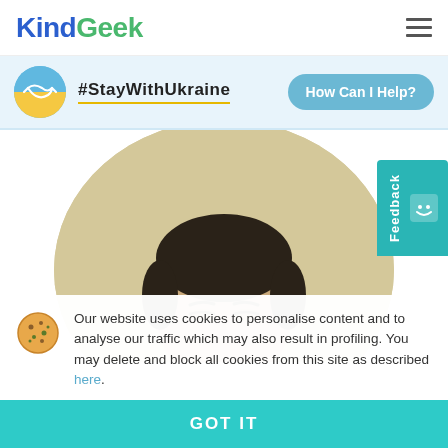KindGeek
#StayWithUkraine
How Can I Help?
[Figure (photo): Photo of a man from shoulders up inside a circular beige/tan background, cropped at chest level]
Feedback
Our website uses cookies to personalise content and to analyse our traffic which may also result in profiling. You may delete and block all cookies from this site as described here.
GOT IT